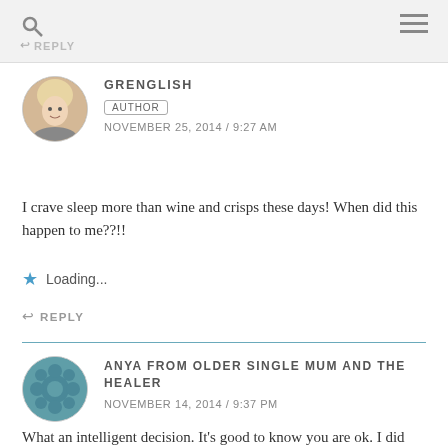REPLY
GRENGLISH
AUTHOR
NOVEMBER 25, 2014 / 9:27 AM
I crave sleep more than wine and crisps these days! When did this happen to me??!!
Loading...
REPLY
ANYA FROM OLDER SINGLE MUM AND THE HEALER
NOVEMBER 14, 2014 / 9:37 PM
What an intelligent decision. It's good to know you are ok. I did